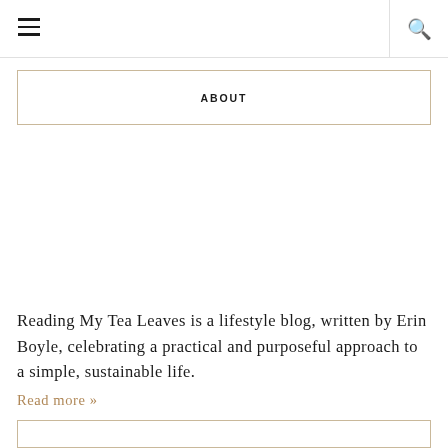☰  🔍
ABOUT
Reading My Tea Leaves is a lifestyle blog, written by Erin Boyle, celebrating a practical and purposeful approach to a simple, sustainable life. Read more »